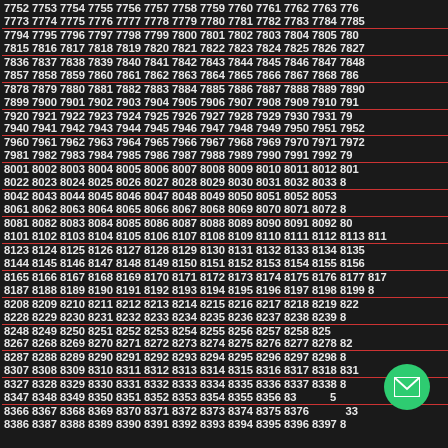Sequential number list from 7752 to 8397, displayed in rows on dark background with periodic red underlines